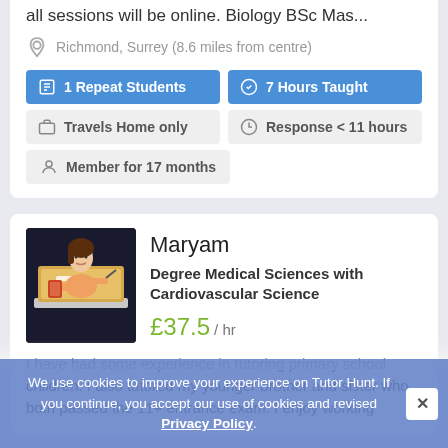all sessions will be online. Biology BSc Mas...
Richmond, Surrey (8.6 miles from centre)
1 Repeat Students
7 Hours Taught
Travels Home only
Response < 11 hours
Member for 17 months
Maryam
Degree Medical Sciences with Cardiovascular Science
£37.5 / hr
I have had some experience in tutoring primary school children. I also tutored my younger brother and sister who both passed the 11+ entrance exam. I enjoy working
We use cookies to improve your experience on Tutor Hunt. If you continue, you accept our use of cookies and revised Privacy Policy.